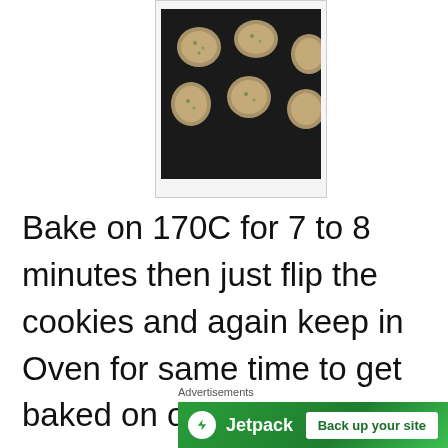[Figure (photo): Photo of unbaked cookies on a dark baking tray, viewed from above, showing several round cookie dough portions with seeds on top]
Bake on 170C for 7 to 8 minutes then just flip the cookies and again keep in Oven for same time to get baked on other side too.
Advertisements
[Figure (logo): Jetpack advertisement banner with green background showing Jetpack logo and 'Back up your site' button]